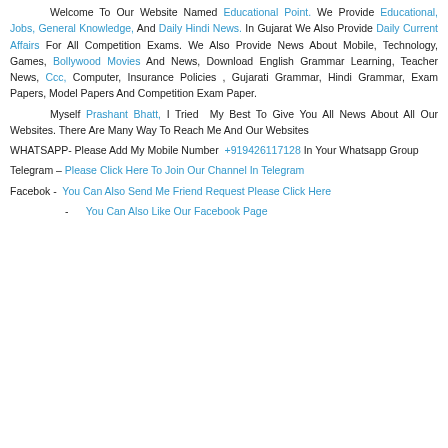Welcome To Our Website Named Educational Point. We Provide Educational, Jobs, General Knowledge, And Daily Hindi News. In Gujarat We Also Provide Daily Current Affairs For All Competition Exams. We Also Provide News About Mobile, Technology, Games, Bollywood Movies And News, Download English Grammar Learning, Teacher News, Ccc, Computer, Insurance Policies , Gujarati Grammar, Hindi Grammar, Exam Papers, Model Papers And Competition Exam Paper.
Myself Prashant Bhatt, I Tried My Best To Give You All News About All Our Websites. There Are Many Way To Reach Me And Our Websites
WHATSAPP- Please Add My Mobile Number +919426117128 In Your Whatsapp Group
Telegram – Please Click Here To Join Our Channel In Telegram
Facebok - You Can Also Send Me Friend Request Please Click Here
- You Can Also Like Our Facebook Page